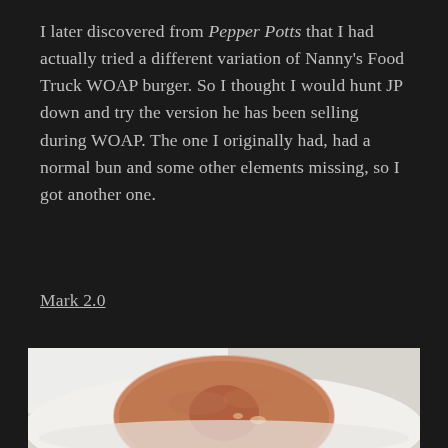I later discovered from Pepper Potts that I had actually tried a different variation of Nanny's Food Truck WOAP burger. So I thought I would hunt JP down and try the version he has been selling during WOAP. The one I originally had, had a normal bun and some other elements missing, so I got another one.
Mark 2.0
[Figure (photo): Close-up photo of a glazed donut on a white plate, on a light background.]